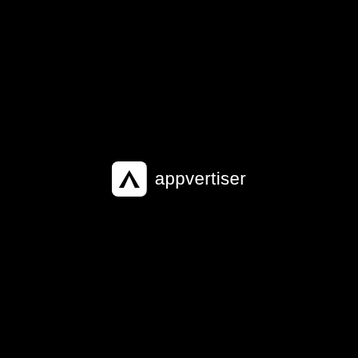[Figure (logo): Appvertiser logo centered on black background. White rounded square icon containing a triangle/mountain shape, followed by the text 'appvertiser' in white sans-serif font.]